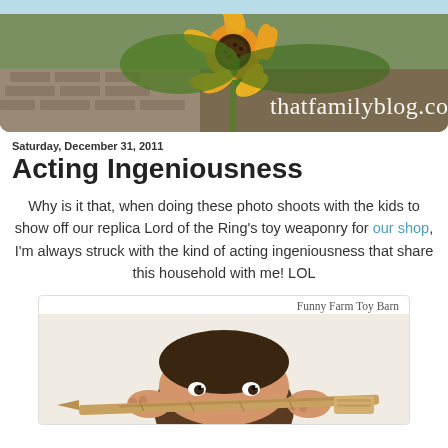thatfamilyblog.com
Saturday, December 31, 2011
Acting Ingeniousness
Why is it that, when doing these photo shoots with the kids to show off our replica Lord of the Ring's toy weaponry for our shop, I'm always struck with the kind of acting ingeniousness that share this household with me! LOL
[Figure (photo): Child peeking over a wooden toy sword with text 'Funny Farm Toy Barn' in upper right corner]